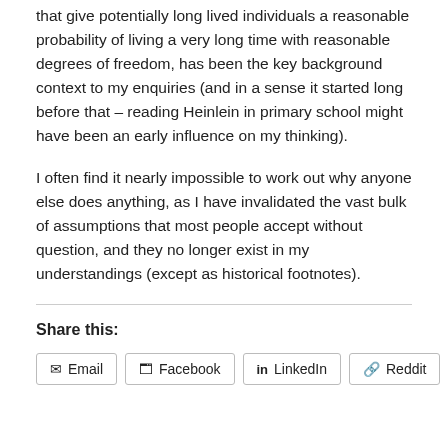that give potentially long lived individuals a reasonable probability of living a very long time with reasonable degrees of freedom, has been the key background context to my enquiries (and in a sense it started long before that – reading Heinlein in primary school might have been an early influence on my thinking).
I often find it nearly impossible to work out why anyone else does anything, as I have invalidated the vast bulk of assumptions that most people accept without question, and they no longer exist in my understandings (except as historical footnotes).
Share this:
Email
Facebook
LinkedIn
Reddit